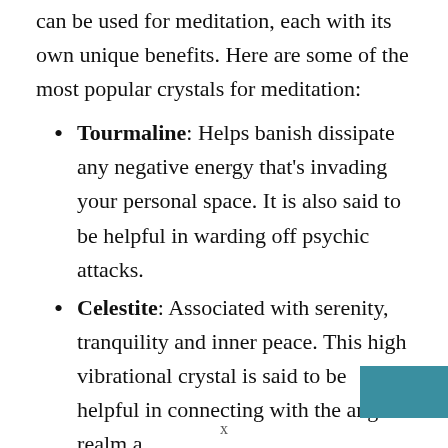can be used for meditation, each with its own unique benefits. Here are some of the most popular crystals for meditation:
Tourmaline: Helps banish dissipate any negative energy that's invading your personal space. It is also said to be helpful in warding off psychic attacks.
Celestite: Associated with serenity, tranquility and inner peace. This high vibrational crystal is said to be helpful in connecting with the angelic realm a…